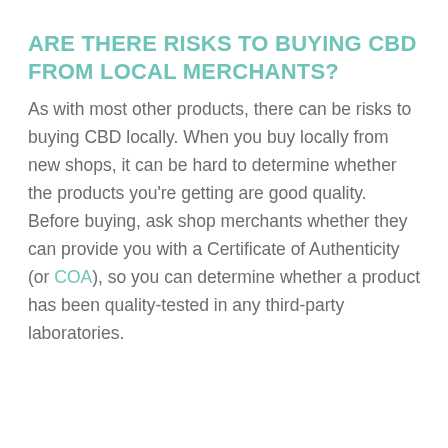ARE THERE RISKS TO BUYING CBD FROM LOCAL MERCHANTS?
As with most other products, there can be risks to buying CBD locally. When you buy locally from new shops, it can be hard to determine whether the products you're getting are good quality. Before buying, ask shop merchants whether they can provide you with a Certificate of Authenticity (or COA), so you can determine whether a product has been quality-tested in any third-party laboratories.